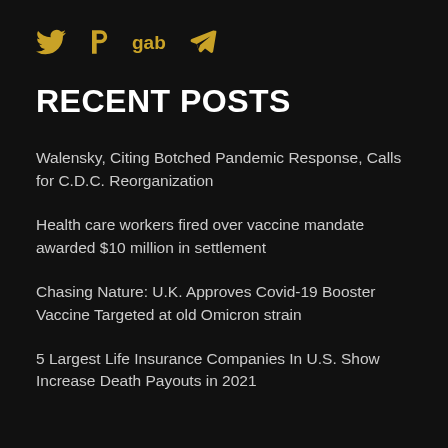[Figure (other): Social media icons: Twitter bird, Parler P logo, 'gab' text, Telegram paper plane — all in gold/yellow color]
RECENT POSTS
Walensky, Citing Botched Pandemic Response, Calls for C.D.C. Reorganization
Health care workers fired over vaccine mandate awarded $10 million in settlement
Chasing Nature: U.K. Approves Covid-19 Booster Vaccine Targeted at old Omicron strain
5 Largest Life Insurance Companies In U.S. Show Increase Death Payouts in 2021